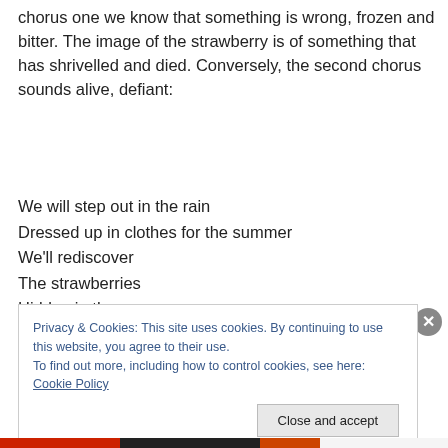chorus one we know that something is wrong, frozen and bitter. The image of the strawberry is of something that has shrivelled and died. Conversely, the second chorus sounds alive, defiant:
We will step out in the rain
Dressed up in clothes for the summer
We'll rediscover
The strawberries
Hidden in the snow
Privacy & Cookies: This site uses cookies. By continuing to use this website, you agree to their use.
To find out more, including how to control cookies, see here: Cookie Policy
Close and accept